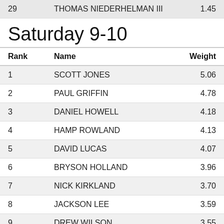| Rank | Name | Weight |
| --- | --- | --- |
| 29 | THOMAS NIEDERHELMAN III | 1.45 |
Saturday 9-10
| Rank | Name | Weight |
| --- | --- | --- |
| 1 | SCOTT JONES | 5.06 |
| 2 | PAUL GRIFFIN | 4.78 |
| 3 | DANIEL HOWELL | 4.18 |
| 4 | HAMP ROWLAND | 4.13 |
| 5 | DAVID LUCAS | 4.07 |
| 6 | BRYSON HOLLAND | 3.96 |
| 7 | NICK KIRKLAND | 3.70 |
| 8 | JACKSON LEE | 3.59 |
| 9 | DREW WILSON | 3.55 |
| 10 | JUSTIN HADDEN | 3.44 |
| 11 | ALLEN BEATTIE | 3.32 |